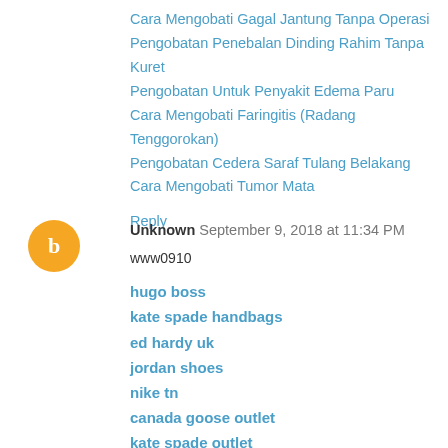Cara Mengobati Gagal Jantung Tanpa Operasi
Pengobatan Penebalan Dinding Rahim Tanpa Kuret
Pengobatan Untuk Penyakit Edema Paru
Cara Mengobati Faringitis (Radang Tenggorokan)
Pengobatan Cedera Saraf Tulang Belakang
Cara Mengobati Tumor Mata
Reply
Unknown  September 9, 2018 at 11:34 PM
www0910
hugo boss
kate spade handbags
ed hardy uk
jordan shoes
nike tn
canada goose outlet
kate spade outlet
red bottom shoes
off white outlet